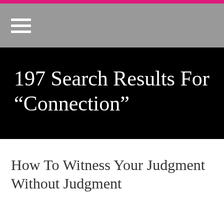197 Search Results For “Connection”
How To Witness Your Judgment Without Judgment